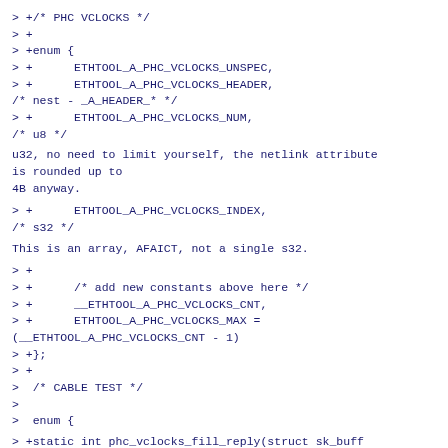> +/* PHC VCLOCKS */
> +
> +enum {
> +      ETHTOOL_A_PHC_VCLOCKS_UNSPEC,
> +      ETHTOOL_A_PHC_VCLOCKS_HEADER,
/* nest - _A_HEADER_* */
> +      ETHTOOL_A_PHC_VCLOCKS_NUM,
/* u8 */
u32, no need to limit yourself, the netlink attribute is rounded up to
4B anyway.
> +      ETHTOOL_A_PHC_VCLOCKS_INDEX,
/* s32 */
This is an array, AFAICT, not a single s32.
> +
> +      /* add new constants above here */
> +      __ETHTOOL_A_PHC_VCLOCKS_CNT,
> +      ETHTOOL_A_PHC_VCLOCKS_MAX =
(__ETHTOOL_A_PHC_VCLOCKS_CNT - 1)
> +};
> +
>  /* CABLE TEST */
>
>  enum {
> +static int phc_vclocks_fill_reply(struct sk_buff